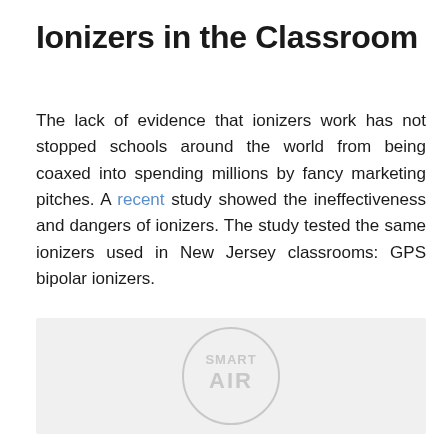Ionizers in the Classroom
The lack of evidence that ionizers work has not stopped schools around the world from being coaxed into spending millions by fancy marketing pitches. A recent study showed the ineffectiveness and dangers of ionizers. The study tested the same ionizers used in New Jersey classrooms: GPS bipolar ionizers.
[Figure (photo): Gray placeholder image with a faint Smart Air watermark logo in the lower center]